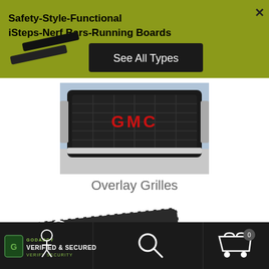[Figure (infographic): Olive-green banner advertisement for iSteps / Nerf Bars / Running Boards showing two black running board bars and a 'See All Types' button. An X close button is in the top-right corner. Text reads: Safety-Style-Functional / iSteps-Nerf Bars-Running Boards]
[Figure (photo): Photo of a GMC truck front grille with red GMC lettering on a black grille background]
Overlay Grilles
[Figure (illustration): Dark coupon graphic with dashed border, scissors icon, and the word COUPON in large block letters]
[Figure (infographic): Dark footer navigation bar with GoDaddy Verified & Secured badge on the left, a search icon in the center, and a shopping cart icon with 0 count on the right]